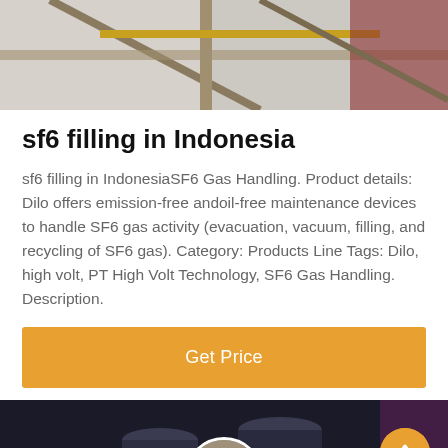[Figure (photo): Partial view of industrial scaffolding or structure with yellow and grey elements against a building exterior]
sf6 filling in Indonesia
sf6 filling in IndonesiaSF6 Gas Handling. Product details: Dilo offers emission-free andoil-free maintenance devices to handle SF6 gas activity (evacuation, vacuum, filling, and recycling of SF6 gas). Category: Products Line Tags: Dilo, high volt, PT High Volt Technology, SF6 Gas Handling. Description.
Get Price
[Figure (photo): Night-time industrial scene with large cylindrical structures and a customer service representative avatar at bottom center]
Leave Message
Chat Online